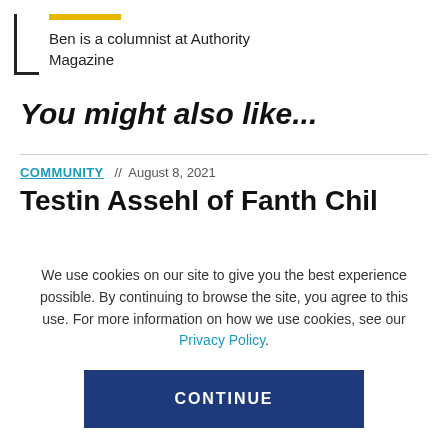Ben is a columnist at Authority Magazine
You might also like...
COMMUNITY // August 8, 2021
We use cookies on our site to give you the best experience possible. By continuing to browse the site, you agree to this use. For more information on how we use cookies, see our Privacy Policy.
CONTINUE